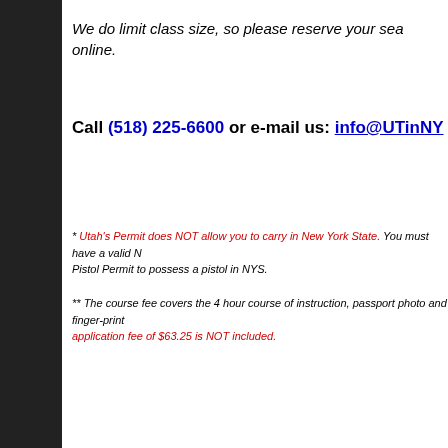We do limit class size, so please reserve your seat online.
Call (518) 225-6600 or e-mail us: info@UTinNY
* Utah's Permit does NOT allow you to carry in New York State. You must have a valid NY Pistol Permit to possess a pistol in NYS.
** The course fee covers the 4 hour course of instruction, passport photo and finger-print application fee of $63.25 is NOT included.